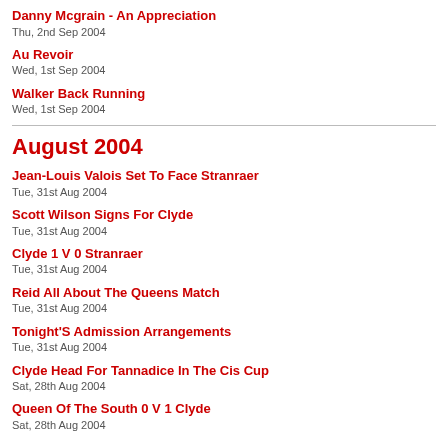Danny Mcgrain - An Appreciation
Thu, 2nd Sep 2004
Au Revoir
Wed, 1st Sep 2004
Walker Back Running
Wed, 1st Sep 2004
August 2004
Jean-Louis Valois Set To Face Stranraer
Tue, 31st Aug 2004
Scott Wilson Signs For Clyde
Tue, 31st Aug 2004
Clyde 1 V 0 Stranraer
Tue, 31st Aug 2004
Reid All About The Queens Match
Tue, 31st Aug 2004
Tonight'S Admission Arrangements
Tue, 31st Aug 2004
Clyde Head For Tannadice In The Cis Cup
Sat, 28th Aug 2004
Queen Of The South 0 V 1 Clyde
Sat, 28th Aug 2004